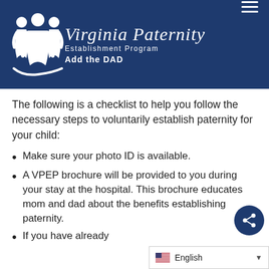[Figure (logo): Virginia Paternity Establishment Program - Add the DAD logo with white figures on dark navy blue header background]
The following is a checklist to help you follow the necessary steps to voluntarily establish paternity for your child:
Make sure your photo ID is available.
A VPEP brochure will be provided to you during your stay at the hospital. This brochure educates mom and dad about the benefits establishing paternity.
If you have already...